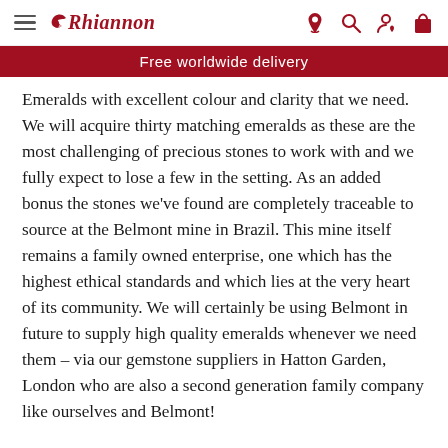Rhiannon — Free worldwide delivery
Emeralds with excellent colour and clarity that we need. We will acquire thirty matching emeralds as these are the most challenging of precious stones to work with and we fully expect to lose a few in the setting. As an added bonus the stones we've found are completely traceable to source at the Belmont mine in Brazil. This mine itself remains a family owned enterprise, one which has the highest ethical standards and which lies at the very heart of its community. We will certainly be using Belmont in future to supply high quality emeralds whenever we need them – via our gemstone suppliers in Hatton Garden, London who are also a second generation family company like ourselves and Belmont!
Enlli itself will now be launched as a design this year